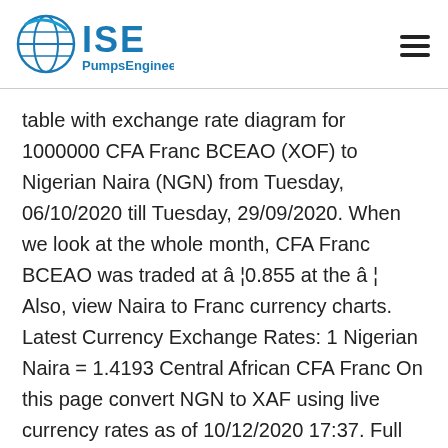ISE PumpsEngineering
table with exchange rate diagram for 1000000 CFA Franc BCEAO (XOF) to Nigerian Naira (NGN) from Tuesday, 06/10/2020 till Tuesday, 29/09/2020. When we look at the whole month, CFA Franc BCEAO was traded at â¦0.855 at the â¦ Also, view Naira to Franc currency charts. Latest Currency Exchange Rates: 1 Nigerian Naira = 1.4193 Central African CFA Franc On this page convert NGN to XAF using live currency rates as of 10/12/2020 17:37. Full history please visit XAF/NGN History Currency converter The converter shows the conversion of 1 West African CFA franc to Ghanaian cedi as of Saturday, 12 December 2020. On this page you can find the latest